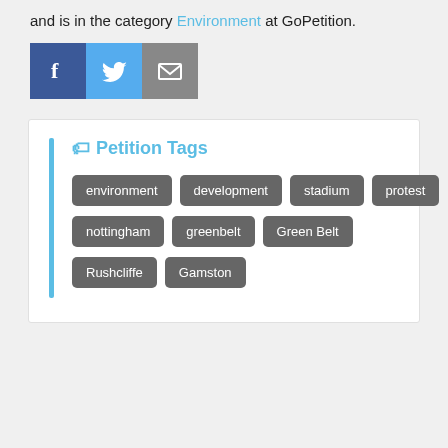and is in the category Environment at GoPetition.
[Figure (other): Social sharing icons: Facebook (blue), Twitter (light blue), Email (grey)]
Petition Tags
environment
development
stadium
protest
nottingham
greenbelt
Green Belt
Rushcliffe
Gamston